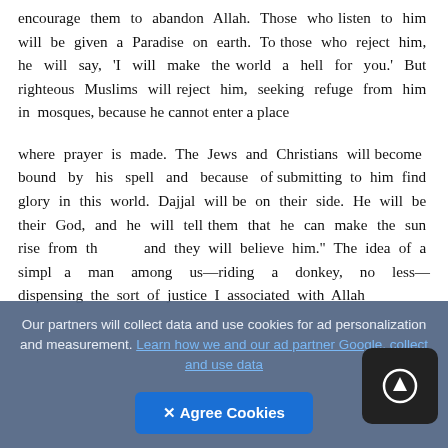encourage them to abandon Allah. Those who listen to him will be given a Paradise on earth. To those who reject him, he will say, 'I will make the world a hell for you.' But righteous Muslims will reject him, seeking refuge from him in mosques, because he cannot enter a place
where prayer is made. The Jews and Christians will become bound by his spell and because of submitting to him find glory in this world. Dajjal will be on their side. He will be their God, and he will tell them that he can make the sun rise from th and they will believe him." The idea of a simpl a man among us—riding a donkey, no less— dispensing the sort of justice I associated with Allah
Our partners will collect data and use cookies for ad personalization and measurement. Learn how we and our ad partner Google, collect and use data